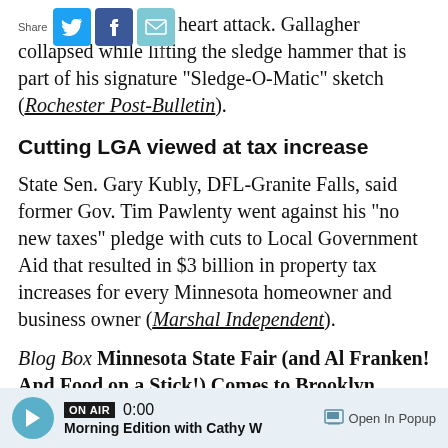[Figure (other): Share bar with Twitter, Facebook, and email icons]
heart attack. Gallagher collapsed while lifting the sledge hammer that is part of his signature "Sledge-O-Matic" sketch (Rochester Post-Bulletin).
Cutting LGA viewed at tax increase
State Sen. Gary Kubly, DFL-Granite Falls, said former Gov. Tim Pawlenty went against his "no new taxes" pledge with cuts to Local Government Aid that resulted in $3 billion in property tax increases for every Minnesota homeowner and business owner (Marshal Independent).
Blog Box Minnesota State Fair (and Al Franken! And Food on a Stick!) Comes to Brooklyn
ON AIR 0:00 Morning Edition with Cathy W  Open In Popup